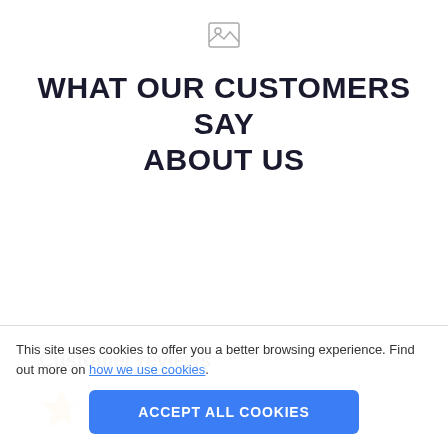[Figure (illustration): Small image placeholder icon (broken image icon) centered near top of page]
WHAT OUR CUSTOMERS SAY ABOUT US
Customer reviews
4.7 out of 5
This site uses cookies to offer you a better browsing experience. Find out more on how we use cookies.
ACCEPT ALL COOKIES